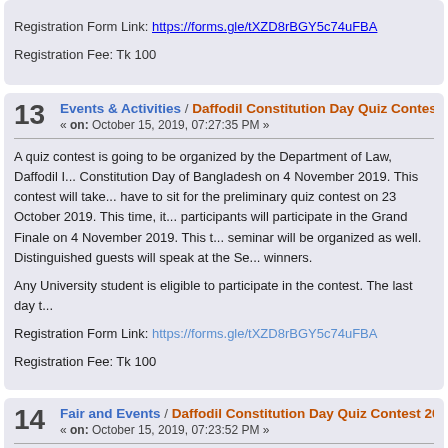Registration Form Link: https://forms.gle/tXZD8rBGY5c74uFBA
Registration Fee: Tk 100
13 Events & Activities / Daffodil Constitution Day Quiz Contest 2...
« on: October 15, 2019, 07:27:35 PM »
A quiz contest is going to be organized by the Department of Law, Daffodil ... Constitution Day of Bangladesh on 4 November 2019. This contest will take... have to sit for the preliminary quiz contest on 23 October 2019. This time, it... participants will participate in the Grand Finale on 4 November 2019. This t... seminar will be organized as well. Distinguished guests will speak at the Se... winners.
Any University student is eligible to participate in the contest. The last day t...
Registration Form Link: https://forms.gle/tXZD8rBGY5c74uFBA
Registration Fee: Tk 100
14 Fair and Events / Daffodil Constitution Day Quiz Contest 2019
« on: October 15, 2019, 07:23:52 PM »